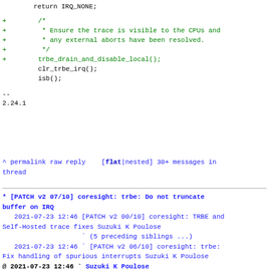return IRQ_NONE;

+        /*
+         * Ensure the trace is visible to the CPUs and
+         * any external aborts have been resolved.
+         */
+        trbe_drain_and_disable_local();
         clr_trbe_irq();
         isb();

--
2.24.1
^ permalink raw reply   [flat|nested] 30+ messages in thread
* [PATCH v2 07/10] coresight: trbe: Do not truncate buffer on IRQ
   2021-07-23 12:46 [PATCH v2 00/10] coresight: TRBE and Self-Hosted trace fixes Suzuki K Poulose
                    ` (5 preceding siblings ...)
   2021-07-23 12:46 ` [PATCH v2 06/10] coresight: trbe: Fix handling of spurious interrupts Suzuki K Poulose
@ 2021-07-23 12:46 ` Suzuki K Poulose
   2021-07-26 12:34   ` Mike Leach
   2021-07-23 12:46 ` [PATCH v2 08/10] coresight: trbe: Unify the enabling sequence Suzuki K Poulose
                    ` (3 subsequent siblings)